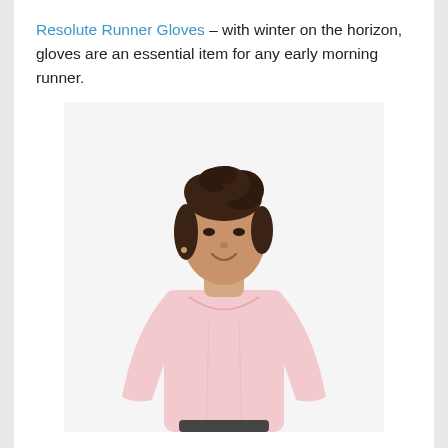Resolute Runner Gloves – with winter on the horizon, gloves are an essential item for any early morning runner.
[Figure (photo): A woman with curly hair pulled up, smiling and looking to the side, wearing a light pink long-sleeve fitted athletic top, shown from the waist up against a white background.]